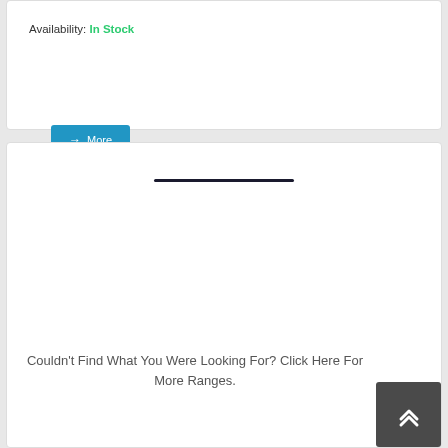More Product Options Available, Grey or Cream
Availability: In Stock
→ More
[Figure (other): Horizontal dark divider line in a white card section]
Couldn't Find What You Were Looking For? Click Here For More Ranges.